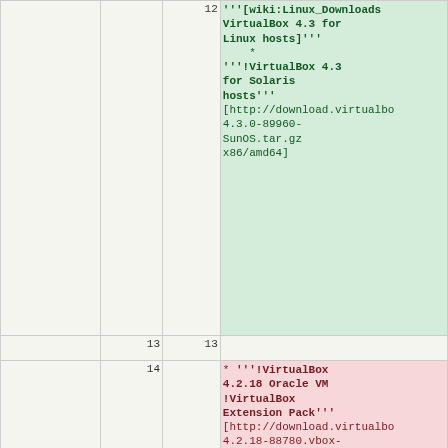|  |  | 12 | '''[wiki:Linux_Downloads VirtualBox 4.3 for Linux hosts]'''
 *
'''!VirtualBox 4.3 for Solaris hosts''' [http://download.virtualbo 4.3.0-89960-SunOS.tar.gz x86/amd64] |
|  | 13 | 13 |  |
|  | 14 |  | * '''!VirtualBox 4.2.18 Oracle VM !VirtualBox Extension Pack''' [http://download.virtualbo 4.2.18-88780.vbox-extpack All supported platforms] [[BR]]Support for USB 2.0 devices, !VirtualBox RDP and PXE boot for Intel cards. See [/manual/ch01.html#intro-installing this chapter from the User Manual] for an introduction to this Extension Pack. The Extension Pack binaries are released under the [wiki:"VirtualBox PUEL" |